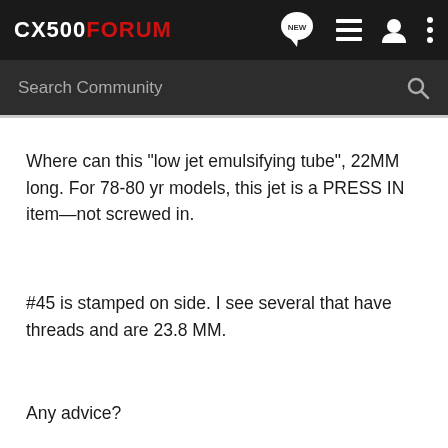CX500FORUM
Where can this "low jet emulsifying tube", 22MM long. For 78-80 yr models, this jet is a PRESS IN item—not screwed in.
#45 is stamped on side. I see several that have threads and are 23.8 MM.
Any advice?